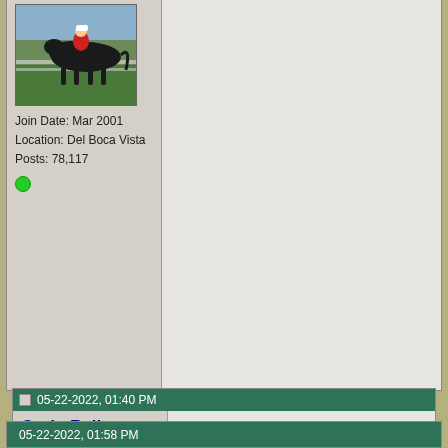Join Date: Mar 2001
Location: Del Boca Vista
Posts: 78,117
05-22-2022, 01:40 PM
OntheRail
Registered User
Join Date: Aug 2009
Posts: 5,407
Agree with that 1000%. And some of But some of them parents have to ha This madness has to stop... we as a discussions and a serious look back gender grooming. Holy hell have you an elderly lady.. guess today's blue h
Remember To Help Old Friends Thor
05-22-2022, 01:58 PM